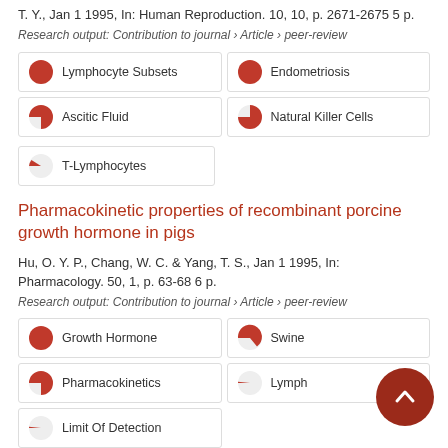T. Y., Jan 1 1995, In: Human Reproduction. 10, 10, p. 2671-2675 5 p.
Research output: Contribution to journal › Article › peer-review
[Figure (infographic): Badge grid with keyword pills for first article: Lymphocyte Subsets (100%), Endometriosis (100%), Ascitic Fluid (75%), Natural Killer Cells (50%), T-Lymphocytes (25%)]
Pharmacokinetic properties of recombinant porcine growth hormone in pigs
Hu, O. Y. P., Chang, W. C. & Yang, T. S., Jan 1 1995, In: Pharmacology. 50, 1, p. 63-68 6 p.
Research output: Contribution to journal › Article › peer-review
[Figure (infographic): Badge grid with keyword pills for second article: Growth Hormone (100%), Swine (85%), Pharmacokinetics (75%), Lymph (10%), Limit Of Detection (10%)]